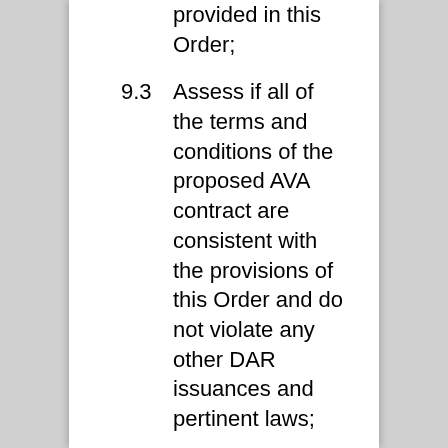provided in this Order;
9.3       Assess if all of the terms and conditions of the proposed AVA contract are consistent with the provisions of this Order and do not violate any other DAR issuances and pertinent laws;
9.4       Evaluate the soundness of the assumptions used in projecting the